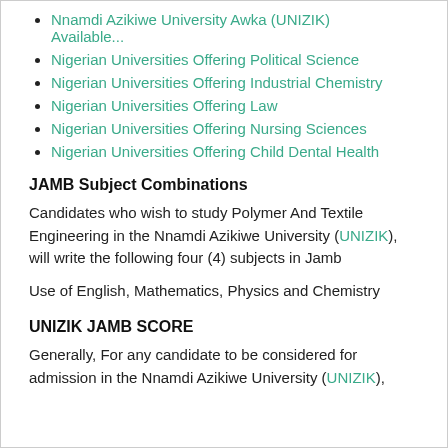Nnamdi Azikiwe University Awka (UNIZIK) Available...
Nigerian Universities Offering Political Science
Nigerian Universities Offering Industrial Chemistry
Nigerian Universities Offering Law
Nigerian Universities Offering Nursing Sciences
Nigerian Universities Offering Child Dental Health
JAMB Subject Combinations
Candidates who wish to study Polymer And Textile Engineering in the Nnamdi Azikiwe University (UNIZIK), will write the following four (4) subjects in Jamb
Use of English, Mathematics, Physics and Chemistry
UNIZIK JAMB SCORE
Generally, For any candidate to be considered for admission in the Nnamdi Azikiwe University (UNIZIK),